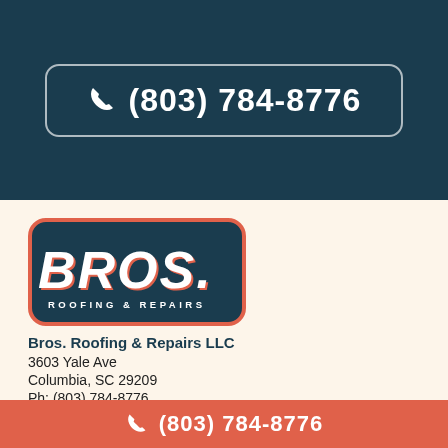☎ (803) 784-8776
[Figure (logo): Bros. Roofing & Repairs logo: dark teal rounded rectangle with coral/salmon border, stylized italic BROS. in white text with coral shadow, ROOFING & REPAIRS subtitle in white]
Bros. Roofing & Repairs LLC
3603 Yale Ave
Columbia, SC 29209
Ph: (803) 784-8776
☎ (803) 784-8776